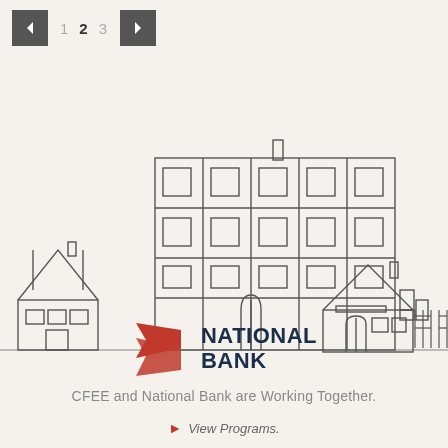◄  1  2  3  ►
[Figure (illustration): Line-art illustration of a city street scene with houses and a multi-story building in the center, drawn in dark outline style on a cream background]
[Figure (logo): National Bank logo: red flag/banner shape icon beside bold dark navy text reading NATIONAL BANK]
CFEE and National Bank are Working Together.
► View Programs.